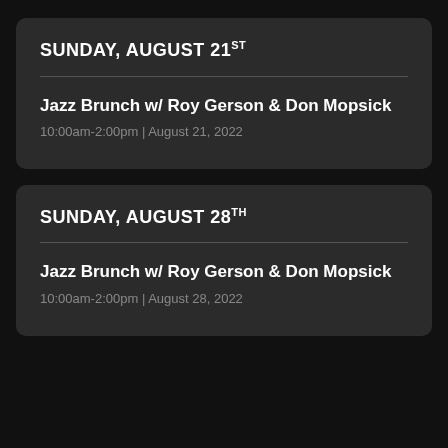SUNDAY, AUGUST 21ST
Jazz Brunch w/ Roy Gerson & Don Mopsick
10:00am-2:00pm | August 21, 2022
SUNDAY, AUGUST 28TH
Jazz Brunch w/ Roy Gerson & Don Mopsick
10:00am-2:00pm | August 28, 2022